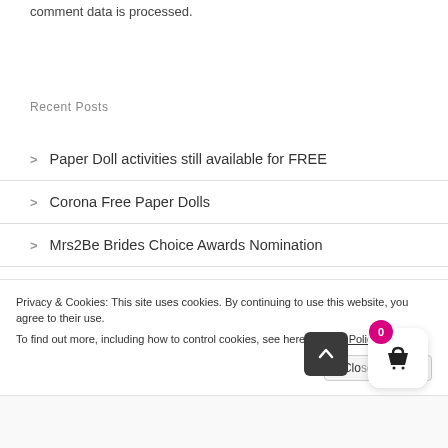comment data is processed.
Recent Posts
Paper Doll activities still available for FREE
Corona Free Paper Dolls
Mrs2Be Brides Choice Awards Nomination
Caricature Gifts for the Wedding Party
Happy Halloween from Caricatures by Carmel
Privacy & Cookies: This site uses cookies. By continuing to use this website, you agree to their use.
To find out more, including how to control cookies, see here: Cookie Policy
Close and accept